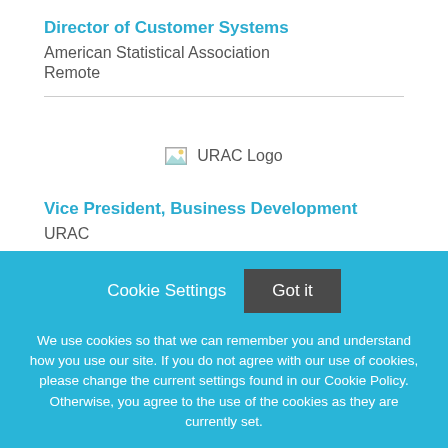Director of Customer Systems
American Statistical Association
Remote
[Figure (logo): URAC Logo placeholder image]
Vice President, Business Development
URAC
Cookie Settings  Got it
We use cookies so that we can remember you and understand how you use our site. If you do not agree with our use of cookies, please change the current settings found in our Cookie Policy. Otherwise, you agree to the use of the cookies as they are currently set.